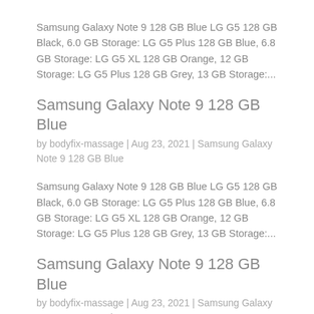Samsung Galaxy Note 9 128 GB Blue LG G5 128 GB Black, 6.0 GB Storage: LG G5 Plus 128 GB Blue, 6.8 GB Storage: LG G5 XL 128 GB Orange, 12 GB Storage: LG G5 Plus 128 GB Grey, 13 GB Storage:...
Samsung Galaxy Note 9 128 GB Blue
by bodyfix-massage | Aug 23, 2021 | Samsung Galaxy Note 9 128 GB Blue
Samsung Galaxy Note 9 128 GB Blue LG G5 128 GB Black, 6.0 GB Storage: LG G5 Plus 128 GB Blue, 6.8 GB Storage: LG G5 XL 128 GB Orange, 12 GB Storage: LG G5 Plus 128 GB Grey, 13 GB Storage:...
Samsung Galaxy Note 9 128 GB Blue
by bodyfix-massage | Aug 23, 2021 | Samsung Galaxy Note 9 128 GB Blue